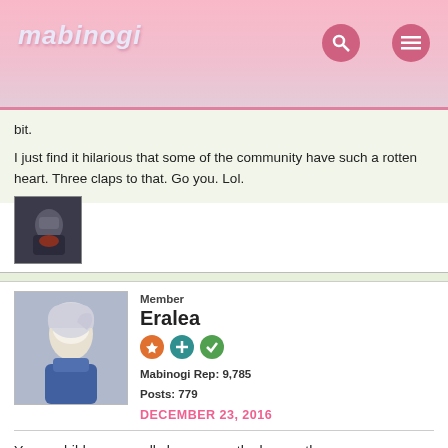mabinogi
bit.

I just find it hilarious that some of the community have such a rotten heart. Three claps to that. Go you. Lol.
[Figure (photo): Small avatar image of a dark armored character with a red accessory]
Member
Eralea
Mabinogi Rep: 9,785
Posts: 779
DECEMBER 23, 2016
[Figure (photo): Avatar image of an anime character with white/silver hair in blue armor]
Young children normally learn empathy by age three.

Some people never do.